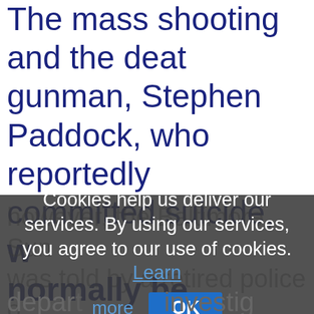The mass shooting and the death of the gunman, Stephen Paddock, who reportedly committed suicide, would normally be investigated by do...
Cookies help us deliver our services. By using our services, you agree to our use of cookies. Learn more
OK